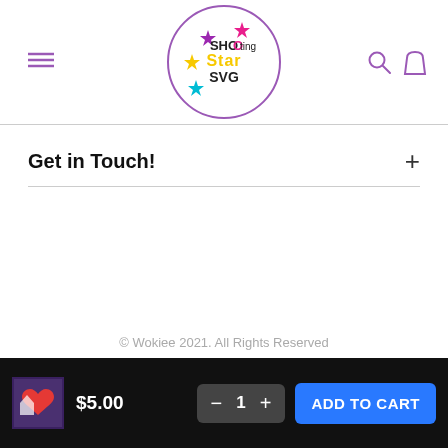[Figure (logo): Shooting Star SVG logo — circular purple border with colorful stars and text reading SHOOting Star SVG]
Get in Touch!
© Wokiee 2021. All Rights Reserved
$5.00  −  1  +  ADD TO CART